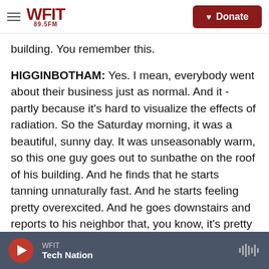WFIT 89.5FM | Donate
building. You remember this.
HIGGINBOTHAM: Yes. I mean, everybody went about their business just as normal. And it - partly because it's hard to visualize the effects of radiation. So the Saturday morning, it was a beautiful, sunny day. It was unseasonably warm, so this one guy goes out to sunbathe on the roof of his building. And he finds that he starts tanning unnaturally fast. And he starts feeling pretty overexcited. And he goes downstairs and reports to his neighbor that, you know, it's pretty great up there, and maybe his neighbor would like to join
WFIT | Tech Nation